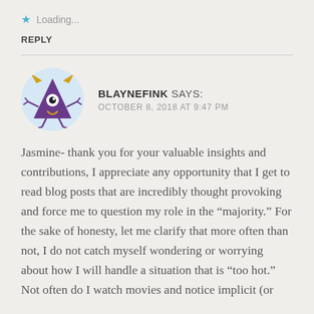★ Loading...
REPLY
BLAYNEFINK SAYS:
OCTOBER 8, 2018 AT 9:47 PM
[Figure (illustration): Cartoon monster avatar — purple triangular one-eyed creature with horns and stick legs, on a light blue circular background]
Jasmine- thank you for your valuable insights and contributions, I appreciate any opportunity that I get to read blog posts that are incredibly thought provoking and force me to question my role in the “majority.” For the sake of honesty, let me clarify that more often than not, I do not catch myself wondering or worrying about how I will handle a situation that is “too hot.” Not often do I watch movies and notice implicit (or